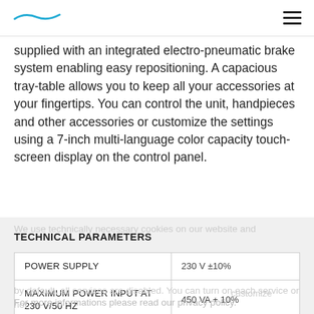[logo] [hamburger menu]
supplied with an integrated electro-pneumatic brake system enabling easy repositioning. A capacious tray-table allows you to keep all your accessories at your fingertips. You can control the unit, handpieces and other accessories or customize the settings using a 7-inch multi-language color capacity touch-screen display on the control panel.
TECHNICAL PARAMETERS
|  |  |
| --- | --- |
| POWER SUPPLY | 230 V ±10% |
| MAXIMUM POWER INPUT AT 230 V/50 HZ | 450 VA + 10% |
| INPUT AIR PRESSURE | FROM 0.45 TO 0.8 MPA |